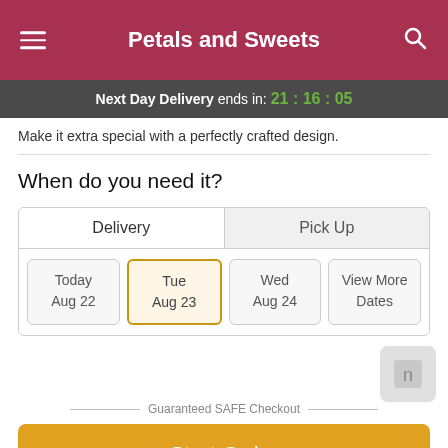Petals and Sweets
Next Day Delivery ends in: 21:16:05
Make it extra special with a perfectly crafted design.
When do you need it?
Delivery | Pick Up
Today Aug 22 | Tue Aug 23 | Wed Aug 24 | View More Dates
Guaranteed SAFE Checkout
Start Order